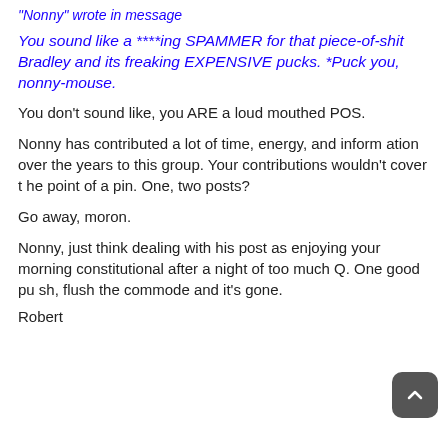"Nonny" wrote in message
You sound like a ****ing SPAMMER for that piece-of-shit Bradley and its freaking EXPENSIVE pucks. *Puck you, nonny-mouse.
You don't sound like, you ARE a loud mouthed POS.
Nonny has contributed a lot of time, energy, and information over the years to this group. Your contributions wouldn't cover the point of a pin. One, two posts?
Go away, moron.
Nonny, just think dealing with his post as enjoying your morning constitutional after a night of too much Q. One good push, flush the commode and it's gone.
Robert